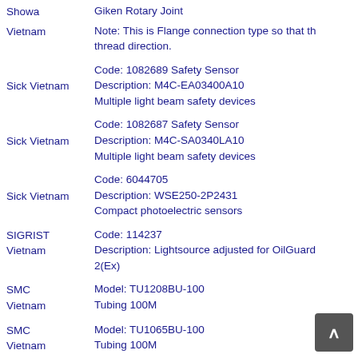Showa Giken Rotary Joint
Vietnam  Note: This is Flange connection type so that the thread direction.
Sick Vietnam  Code: 1082689 Safety Sensor
Description: M4C-EA03400A10
Multiple light beam safety devices
Sick Vietnam  Code: 1082687 Safety Sensor
Description: M4C-SA0340LA10
Multiple light beam safety devices
Sick Vietnam  Code: 6044705
Description: WSE250-2P2431
Compact photoelectric sensors
SIGRIST Vietnam  Code: 114237
Description: Lightsource adjusted for OilGuard 2(Ex)
SMC Vietnam  Model: TU1208BU-100
Tubing 100M
SMC Vietnam  Model: TU1065BU-100
Tubing 100M
Code: 151-01640